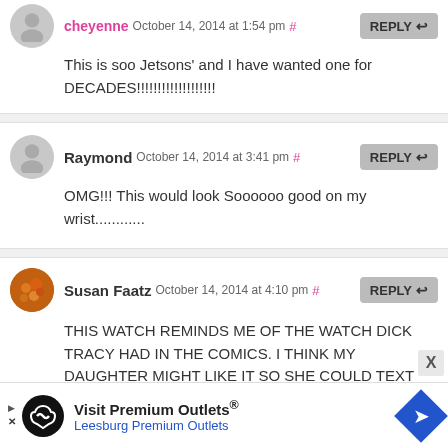cheyenne October 14, 2014 at 1:54 pm # REPLY
This is soo Jetsons' and I have wanted one for DECADES!!!!!!!!!!!!!!!!!!!
Raymond October 14, 2014 at 3:41 pm # REPLY
OMG!!! This would look Soooooo good on my wrist............
Susan Faatz October 14, 2014 at 4:10 pm # REPLY
THIS WATCH REMINDS ME OF THE WATCH DICK TRACY HAD IN THE COMICS. I THINK MY DAUGHTER MIGHT LIKE IT SO SHE COULD TEXT OR TALK WHILE SHE WAS DRIVING.
Visit Premium Outlets® Leesburg Premium Outlets